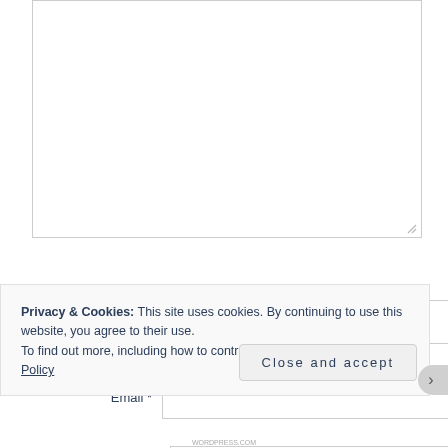[Figure (screenshot): A textarea input box with resize handle at bottom-right]
Name *
[Figure (screenshot): Text input field for Name]
Email *
[Figure (screenshot): Text input field for Email]
Privacy & Cookies: This site uses cookies. By continuing to use this website, you agree to their use.
To find out more, including how to control cookies, see here: Cookie Policy
Close and accept